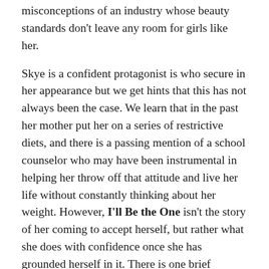misconceptions of an industry whose beauty standards don't leave any room for girls like her.
Skye is a confident protagonist is who secure in her appearance but we get hints that this has not always been the case. We learn that in the past her mother put her on a series of restrictive diets, and there is a passing mention of a school counselor who may have been instrumental in helping her throw off that attitude and live her life without constantly thinking about her weight. However, I'll Be the One isn't the story of her coming to accept herself, but rather what she does with confidence once she has grounded herself in it. There is one brief moment in the story, after a judge has been particularly nasty to her, that Skye considers resubmitting to a dietary regime, but in general she holds fast to her principles and doesn't let people's comments get to her. She literally wears rose-tinted sunglasses to her audition, and this is generally